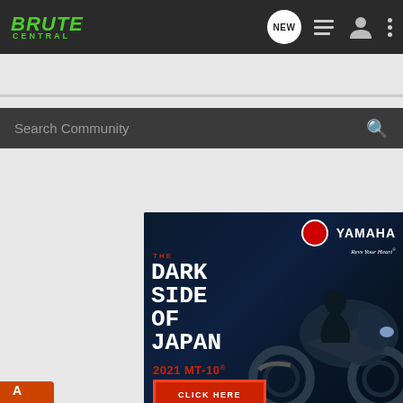Brute Central — navigation bar with NEW, list, profile, and menu icons
Search Community
[Figure (photo): Yamaha 2021 MT-10 motorcycle advertisement. Dark background with motorcycle image. Text: THE DARK SIDE OF JAPAN, 2021 MT-10, CLICK HERE button. Yamaha logo with Revs Your Heart tagline.]
[Figure (photo): G-Force advertisement banner: 3X RELIABILITY, 3X PERFORMANCE, 3X G-FORCE with FIND OUT MORE button and ATV image in forest background.]